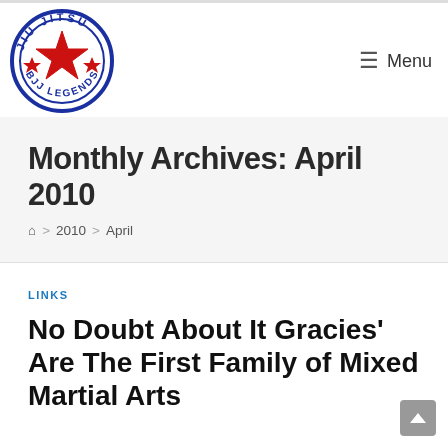Jiu Jitsu BJJ Legends — Menu
Monthly Archives: April 2010
🏠 > 2010 > April
LINKS
No Doubt About It Gracies' Are The First Family of Mixed Martial Arts